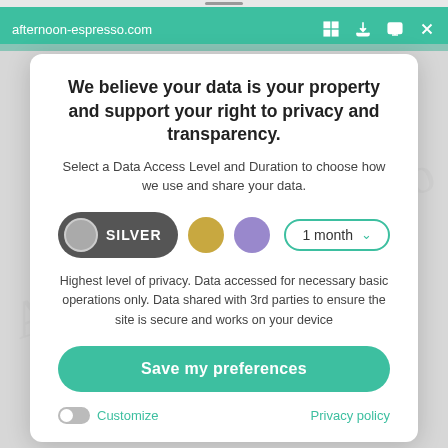afternoon-espresso.com
We believe your data is your property and support your right to privacy and transparency.
Select a Data Access Level and Duration to choose how we use and share your data.
[Figure (screenshot): Privacy consent controls row: SILVER toggle button (dark grey pill with grey circle), gold circle, purple circle, and '1 month' dropdown with teal border]
Highest level of privacy. Data accessed for necessary basic operations only. Data shared with 3rd parties to ensure the site is secure and works on your device
Save my preferences
Customize
Privacy policy